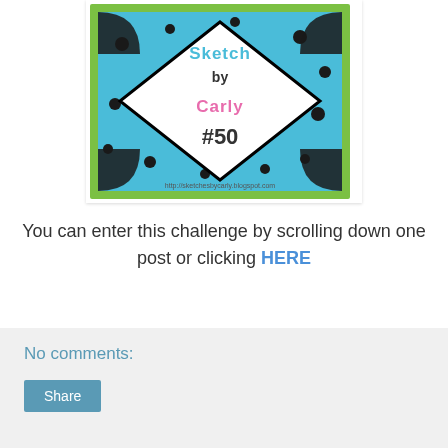[Figure (illustration): A blog badge/logo image for 'Sketch by Carly #50' on a blue polka-dot background with a green border, black quarter-circles in corners, and a white diamond shape in the center containing the text. URL http://sketchesbycarly.blogspot.com shown at bottom.]
You can enter this challenge by scrolling down one post or clicking HERE
No comments:
Share